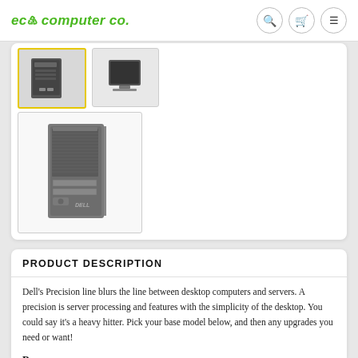eco computer co.
[Figure (photo): Product thumbnail images of a Dell Precision tower workstation desktop computer. Row of two small thumbnails at top, one selected with yellow border showing dark computer tower, second unselected showing dark monitor/tower. Below, a larger thumbnail of the Dell Precision tower workstation in gray.]
PRODUCT DESCRIPTION
Dell's Precision line blurs the line between desktop computers and servers. A precision is server processing and features with the simplicity of the desktop. You could say it's a heavy hitter. Pick your base model below, and then any upgrades you need or want!
Base specs: